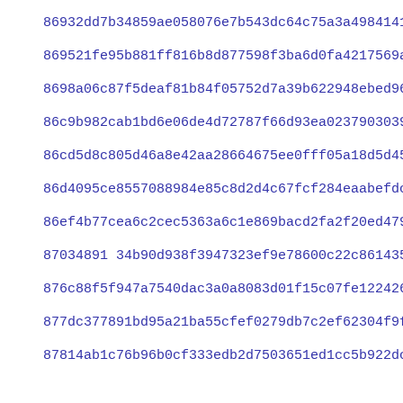86932dd7b34859ae058076e7b543dc64c75a3a49841419be733ccf0e3524a
869521fe95b881ff816b8d877598f3ba6d0fa4217569a15283ef688c443c5
8698a06c87f5deaf81b84f05752d7a39b622948ebed967d30a586586c971b
86c9b982cab1bd6e06de4d72787f66d93ea0237903039673a9cf174e5eca6
86cd5d8c805d46a8e42aa28664675ee0fff05a18d5d4590b1c2b7afcb2d66
86d4095ce8557088984e85c8d2d4c67fcf284eaabefdc0b05329b0c2f503c
86ef4b77cea6c2cec5363a6c1e869bacd2fa2f20ed47948aae7b8c80cbb31
87034891 34b90d938f3947323ef9e78600c22c8614357cb99da767c087718
876c88f5f947a7540dac3a0a8083d01f15c07fe12242602ed1ac185df7886
877dc377891bd95a21ba55cfef0279db7c2ef62304f9fba4c08c1b1797926
87814ab1c76b96b0cf333edb2d7503651ed1cc5b922dc4160fecc45f4466b